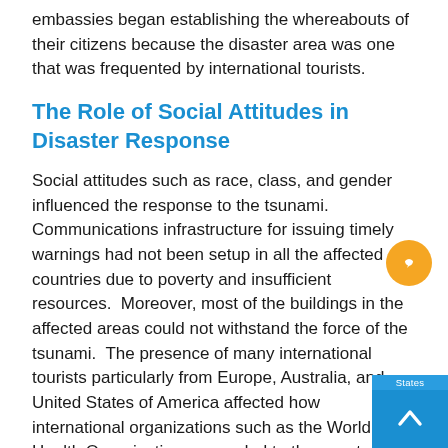embassies began establishing the whereabouts of their citizens because the disaster area was one that was frequented by international tourists.
The Role of Social Attitudes in Disaster Response
Social attitudes such as race, class, and gender influenced the response to the tsunami.  Communications infrastructure for issuing timely warnings had not been setup in all the affected countries due to poverty and insufficient resources.  Moreover, most of the buildings in the affected areas could not withstand the force of the tsunami.  The presence of many international tourists particularly from Europe, Australia, and United States of America affected how international organizations such as the World Health Organization responded to the event. For instance, the death toll for Swedish